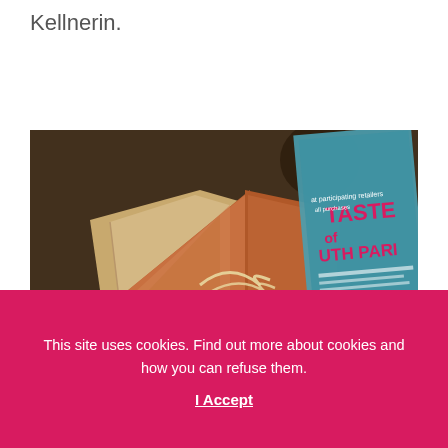Kellnerin.
[Figure (photo): A fried sandwich or grilled cheese in a paper food tray placed on a wooden table, with a 'Taste of South Park' flyer visible in the background.]
This site uses cookies. Find out more about cookies and how you can refuse them.
I Accept